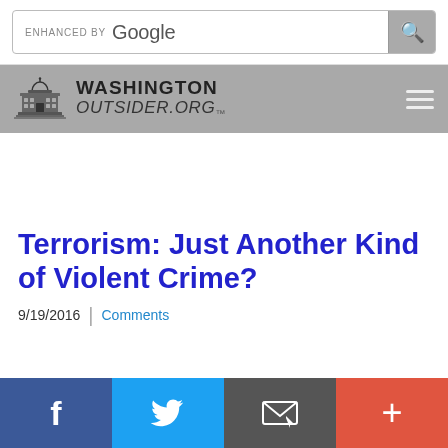[Figure (screenshot): Google custom search bar with search button]
[Figure (logo): Washington Outsider.org logo with US Capitol building icon and hamburger menu]
Terrorism: Just Another Kind of Violent Crime?
9/19/2016 | Comments
[Figure (infographic): Social share bar with Facebook, Twitter, Email, and plus buttons]